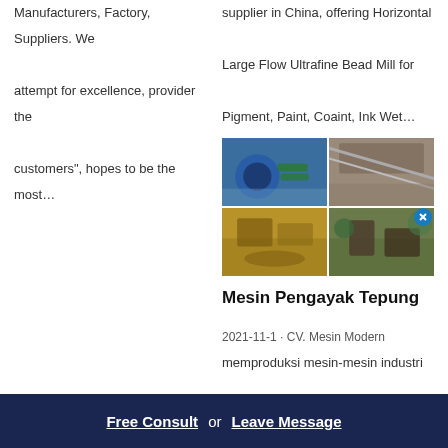Manufacturers, Factory, Suppliers. We attempt for excellence, provider the customers", hopes to be the most…
supplier in China, offering Horizontal Large Flow Ultrafine Bead Mill for Pigment, Paint, Coaint, Ink Wet…
[Figure (photo): 2x2 grid of industrial machinery and mining/construction site photos]
Mesin Pengayak Tepung
2021-11-1 · CV. Mesin Modern memproduksi mesin-mesin industri makanan, farmasi, herbal, kimia, dan berbagai industri lainnya. salah satu dengan menyediakan mesin pengayak
Free Consult  or  Leave Message